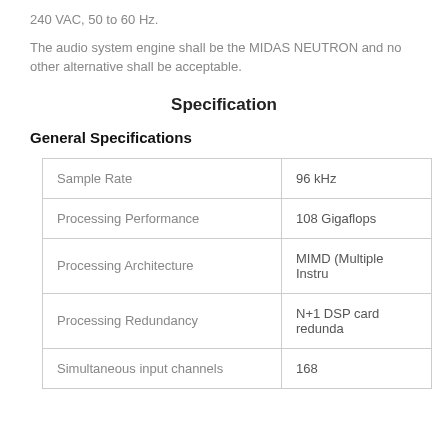240 VAC, 50 to 60 Hz.
The audio system engine shall be the MIDAS NEUTRON and no other alternative shall be acceptable.
Specification
General Specifications
|  |  |
| --- | --- |
| Sample Rate | 96 kHz |
| Processing Performance | 108 Gigaflops |
| Processing Architecture | MIMD (Multiple Instru |
| Processing Redundancy | N+1 DSP card redunda |
| Simultaneous input channels | 168 |